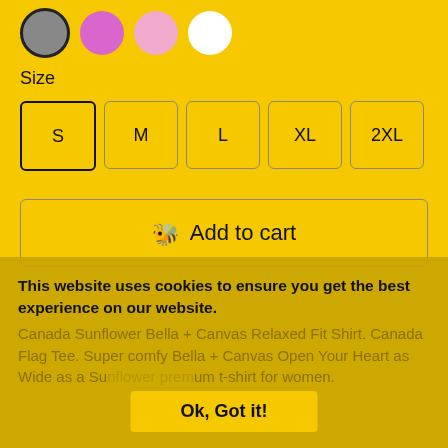[Figure (illustration): Four color circle swatches: dark gray (selected with dark border), magenta/purple, light pink, white]
Size
S (selected), M, L, XL, 2XL size buttons
🐝 Add to cart
This website uses cookies to ensure you get the best experience on our website.
Canada Sunflower Bella + Canvas Relaxed Fit Shirt. Canada Flag Tee. Super comfy Bella + Canvas Open Your Heart as Wide as a Su... um t-shirt for women.
Ok, Got it!